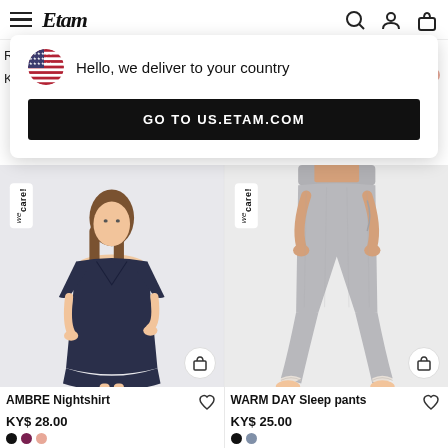Etam — navigation header with hamburger menu, logo, search, account, and bag icons
[Figure (screenshot): Popup notification: flag icon (US), text 'Hello, we deliver to your country', black button 'GO TO US.ETAM.COM']
[Figure (photo): Woman wearing AMBRE Nightshirt in navy, short-sleeve V-neck sleep dress, light grey background, wecare! badge]
[Figure (photo): Woman wearing WARM DAY Sleep pants in grey heather with lace hem, cropped flare style, wecare! badge]
AMBRE Nightshirt
KY$ 28.00
WARM DAY Sleep pants
KY$ 25.00